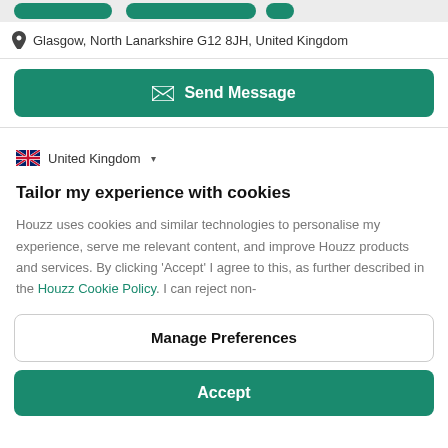[Figure (screenshot): Top bar with green rounded buttons partially visible]
Glasgow, North Lanarkshire G12 8JH, United Kingdom
Send Message
United Kingdom
Tailor my experience with cookies
Houzz uses cookies and similar technologies to personalise my experience, serve me relevant content, and improve Houzz products and services. By clicking 'Accept' I agree to this, as further described in the Houzz Cookie Policy. I can reject non-
Manage Preferences
Accept